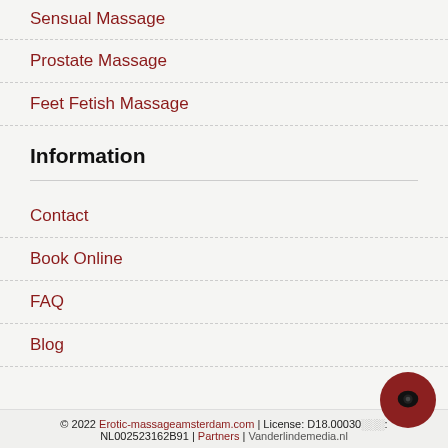Sensual Massage
Prostate Massage
Feet Fetish Massage
Information
Contact
Book Online
FAQ
Blog
© 2022 Erotic-massageamsterdam.com | License: D18.00030…: NL002523162B91 | Partners | Vanderlindemedia.nl